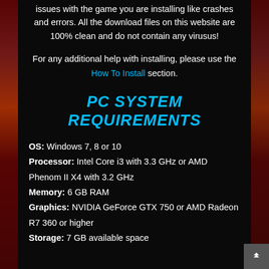softwares on your computer. Not doing so may cause issues with the game you are installing like crashes and errors. All the download files on this website are 100% clean and do not contain any virusus!
For any additional help with installing, please use the How To Install section.
PC SYSTEM REQUIREMENTS
OS: Windows 7, 8 or 10
Processor: Intel Core i3 with 3.3 GHz or AMD Phenom II X4 with 3.2 GHz
Memory: 6 GB RAM
Graphics: NVIDIA GeForce GTX 750 or AMD Radeon R7 360 or higher
Storage: 7 GB available space